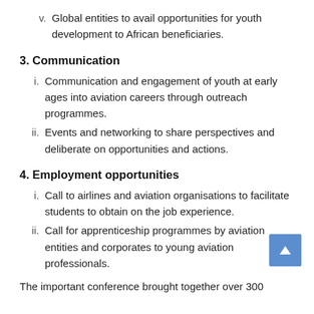v.  Global entities to avail opportunities for youth development to African beneficiaries.
3. Communication
i.  Communication and engagement of youth at early ages into aviation careers through outreach programmes.
ii.  Events and networking to share perspectives and deliberate on opportunities and actions.
4. Employment opportunities
i.  Call to airlines and aviation organisations to facilitate students to obtain on the job experience.
ii.  Call for apprenticeship programmes by aviation entities and corporates to young aviation professionals.
The important conference brought together over 300